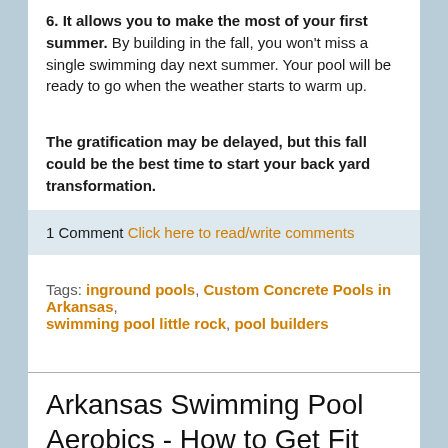6. It allows you to make the most of your first summer. By building in the fall, you won't miss a single swimming day next summer. Your pool will be ready to go when the weather starts to warm up.
The gratification may be delayed, but this fall could be the best time to start your back yard transformation.
1 Comment Click here to read/write comments
Tags: inground pools, Custom Concrete Pools in Arkansas, swimming pool little rock, pool builders
Arkansas Swimming Pool Aerobics - How to Get Fit
Posted by Larry Rogers on Thu, Feb 3, 2011
[Figure (other): Tweet and Share social buttons]